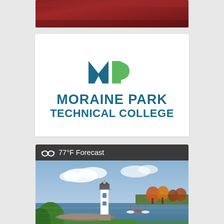[Figure (photo): Aerial or sky photo with reddish/dark tones — partial crop at top]
[Figure (logo): Moraine Park Technical College logo with 'm' icon in teal and green, and text 'MORAINE PARK TECHNICAL COLLEGE' in teal]
[Figure (photo): Weather widget showing '77°F Forecast' header in dark bar with sunglasses/sun icon, and photo of a lighthouse on a lake with marina and colorful autumn trees]